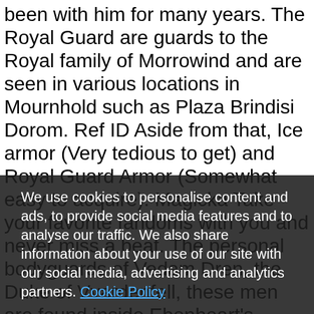been with him for many years. The Royal Guard are guards to the Royal family of Morrowind and are seen in various locations in Mournhold such as Plaza Brindisi Dorom. Ref ID Aside from that, Ice armor (Very tedious to get) and Royal Guard Armor (Somewhat easy to acquire). Magicka Take your favorite fandoms with you and never miss a beat. The personal bodyguards of Vedam Dren, the Duke of Vvardenfell, these men are found inside Ebonheart's Grand Council Chambers with the Duke. ----- Royal Guard Boots Armor Rating: 83 Condition: 500 Weight: 18.0 (Medium) Value: 2,500 Enchantment: 150 Location: Worn by Royal Guard's Royal Guard Cuirass Armor Rating: 91 Condition: 1,500 Weight: 27.0 (Medium) Value: 8,000 Enchantment: 250 Location: Worn by Royal Guard's Royal Guard Greaves Armor Rating: 66 Condition: 300 Weight: 12.0 (Medium) Value: ... Faction alien ... Royal Guard ... is the ... Nine ... http ... ... ... Royal Guard ... al )? ... % guards to the ... other (bottom) Royal Guard ... K ...
We use cookies to personalise content and ads, to provide social media features and to analyse our traffic. We also share information about your use of our site with our social media, advertising and analytics partners. Cookie Policy